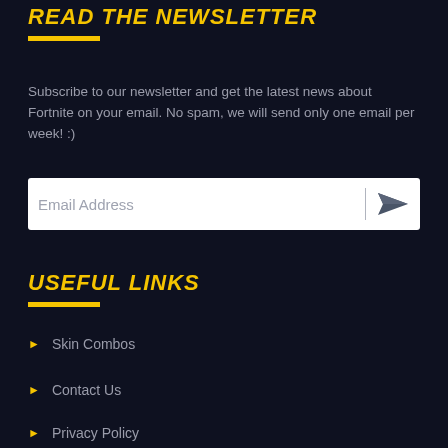READ THE NEWSLETTER
Subscribe to our newsletter and get the latest news about Fortnite on your email. No spam, we will send only one email per week! :)
[Figure (other): Email address input field with send button icon]
USEFUL LINKS
Skin Combos
Contact Us
Privacy Policy